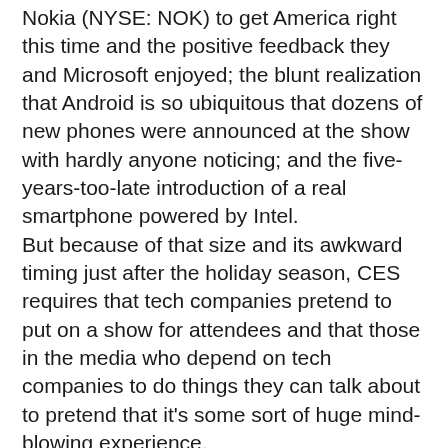Nokia (NYSE: NOK) to get America right this time and the positive feedback they and Microsoft enjoyed; the blunt realization that Android is so ubiquitous that dozens of new phones were announced at the show with hardly anyone noticing; and the five-years-too-late introduction of a real smartphone powered by Intel.
But because of that size and its awkward timing just after the holiday season, CES requires that tech companies pretend to put on a show for attendees and that those in the media who depend on tech companies to do things they can talk about to pretend that it's some sort of huge mind-blowing experience.
The biggest story in technology during CES week had nothing to do with any display of consumer electronics. Google's decision to pollute its search results with a half-baked social graph of Google+ users was easily the most talked-about event in technology during the week.
Nothing unveiled at CES came even close to generating